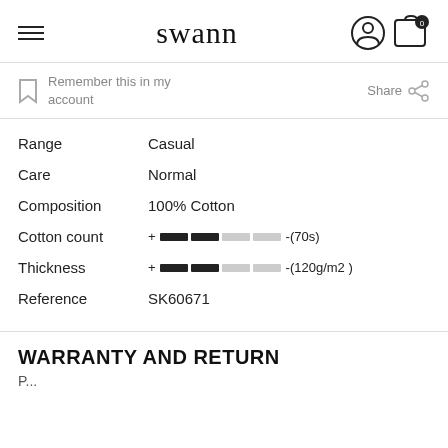swann
Remember this in my account
Share
| Property | Value |
| --- | --- |
| Range | Casual |
| Care | Normal |
| Composition | 100% Cotton |
| Cotton count | + ████ ████ ░░░░ ░░░░ -(70s) |
| Thickness | + ████ ████ ░░░░ ░░░░ -(120g/m2) |
| Reference | SK60671 |
WARRANTY AND RETURN